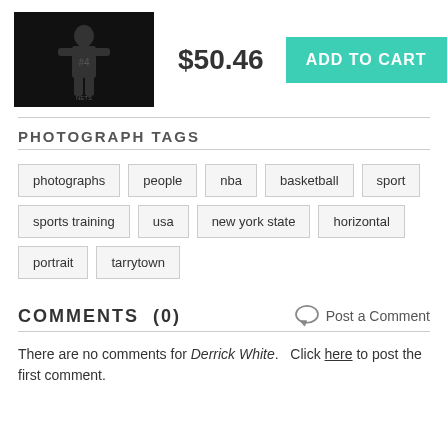[Figure (photo): Basketball player in dark uniform, posing for media day photo against dark background]
$50.46
ADD TO CART
PHOTOGRAPH TAGS
photographs
people
nba
basketball
sport
sports training
usa
new york state
horizontal
portrait
tarrytown
COMMENTS  (0)
Post a Comment
There are no comments for Derrick White.   Click here to post the first comment.